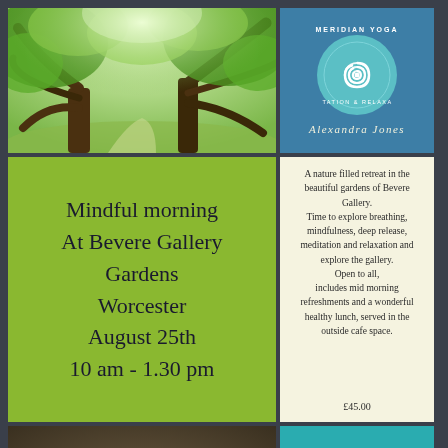[Figure (photo): A large green tree in a sunlit park garden, forming an archway with its branches]
[Figure (logo): Meridian Yoga Meditation and Relaxation logo with spiral circle design, Alexandra Jones]
Mindful morning At Bevere Gallery Gardens Worcester August 25th 10 am - 1.30 pm
A nature filled retreat in the beautiful gardens of Bevere Gallery. Time to explore breathing, mindfulness, deep release, meditation and relaxation and explore the gallery. Open to all, includes mid morning refreshments and a wonderful healthy lunch, served in the outside cafe space.

£45.00
[Figure (photo): A singing bowl with blue flowers on a mossy stone surface]
Booking : email alexandra@meridianyoga.net call 07816147501 www.meridianyoga.net